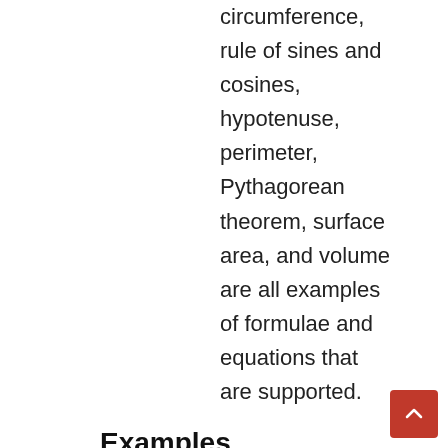circumference, rule of sines and cosines, hypotenuse, perimeter, Pythagorean theorem, surface area, and volume are all examples of formulae and equations that are supported.
Examples
What is the volume of a cylinder with a radius of 4cm and a height of 8cm
What is the formula for the perimeter of a triangle
How to find the circumference of an oblong whose volume is 524 gallons
Calculator a=4 calc b=7 calculator c=